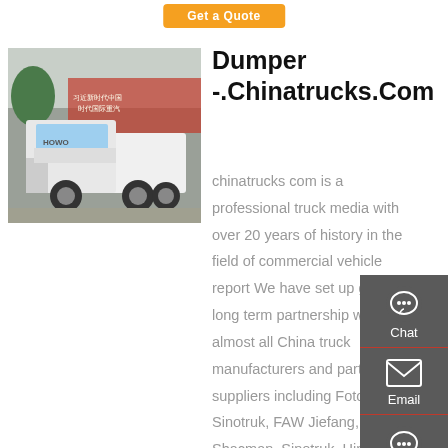Get a Quote
[Figure (photo): White Sinotruk HOWO T5G heavy duty truck/tractor head parked outdoors with Chinese text banner in background]
Dumper-.Chinatrucks.Com
chinatrucks com is a professional truck media with over 20 years of history in the field of commercial vehicle report We have set up good and long term partnership with almost all China truck manufacturers and parts suppliers including Foton, Sinotruk, FAW Jiefang, Shacman, Sinotruk, Hino, JMC, JAC, Dongfeng, SAIC Hongyan,